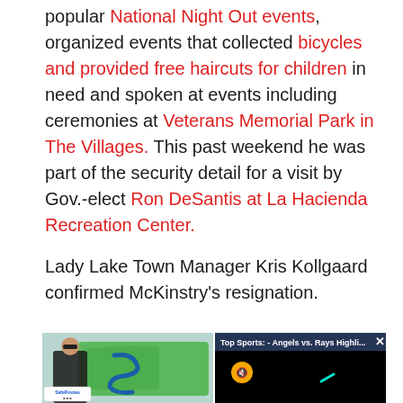popular National Night Out events, organized events that collected bicycles and provided free haircuts for children in need and spoken at events including ceremonies at Veterans Memorial Park in The Villages. This past weekend he was part of the security detail for a visit by Gov.-elect Ron DeSantis at La Hacienda Recreation Center.
Lady Lake Town Manager Kris Kollgaard confirmed McKinstry's resignation.
[Figure (screenshot): Photo of a man in black shirt standing in front of a green vehicle/trailer with SafeRoutes logo, beside a video player overlay showing 'Top Sports: - Angels vs. Rays Highli...' with a mute button on a black background]